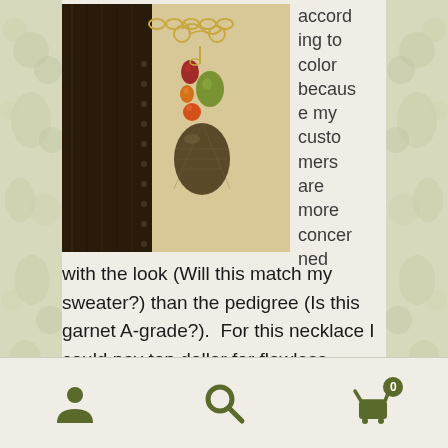[Figure (photo): Close-up photo of a gold wire-wrapped jewelry necklace with colorful gemstone briolettes including a large brown/smoky quartz drop, peridot green stone, red garnet, and orange fire opal, displayed against a dark wooden surface and beige fabric background.]
according to color because my customers are more concerned with the look (Will this match my sweater?) than the pedigree (Is this garnet A-grade?).  For this necklace I could pay top dollar for flawless, earthy green briolettes (A-grade peridot, for example) but I chose cubic zirconia